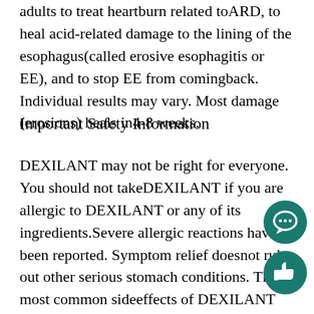adults to treat heartburn related toARD, to heal acid-related damage to the lining of the esophagus(called erosive esophagitis or EE), and to stop EE from comingback. Individual results may vary. Most damage (erosions) heals in4-8 weeks.
Important Safety Information
DEXILANT may not be right for everyone. You should not takeDEXILANT if you are allergic to DEXILANT or any of its ingredients.Severe allergic reactions have been reported. Symptom relief doesnot rule out other serious stomach conditions. The most common sideeffects of DEXILANT were diarrhea (4.8 percent), stomach pain (4.0percent), nausea (2.9 percent), common cold (1.9 percent), vomiting(1.6 percent), and gas (1.6 percent). DEXILANT and certain othermedicines can affect each other. Before taking DEXILANT, tell yourdoctor if you are taking ampicili...